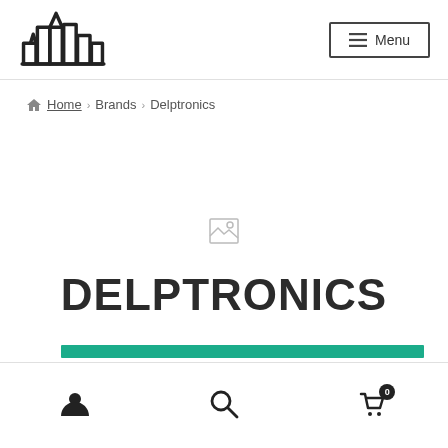[Figure (logo): Monk brand logo — abstract cityscape/buildings outline in black]
≡ Menu
🏠 Home › Brands › Delptronics
[Figure (illustration): Broken image placeholder icon]
DELPTRONICS
[Figure (other): Teal/green horizontal bar]
[Figure (infographic): Bottom navigation bar with user icon, search icon, and cart icon with badge 0]